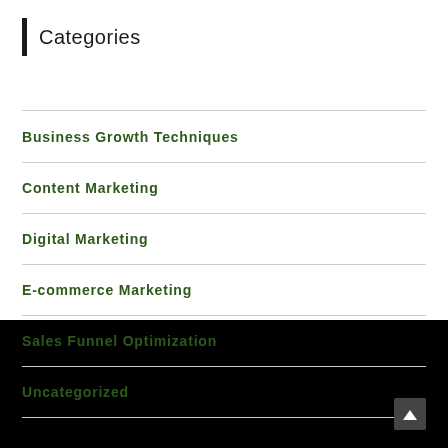Categories
Business Growth Techniques
Content Marketing
Digital Marketing
E-commerce Marketing
Sales Funnel Optimization
Uncategorized